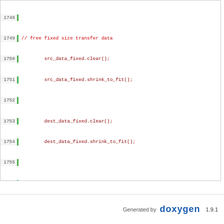[Figure (screenshot): Source code viewer showing C++ code lines 1748-1777 with line numbers, a green vertical bar on the left, and syntax highlighting. Code includes clearing and shrinking fixed/variable transfer data structures, closing a namespace, and explicit instantiation includes.]
Generated by doxygen 1.9.1